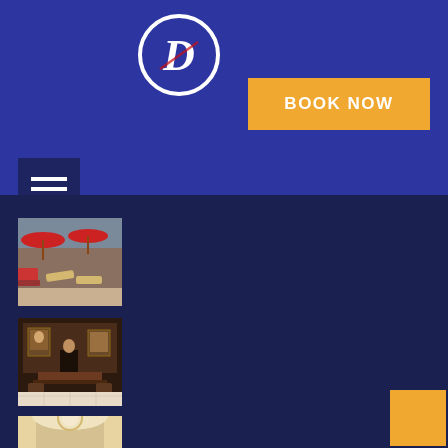[Figure (logo): Hotel logo: stylized cursive D inside a circle with red and white colors on blue background]
[Figure (other): Orange BOOK NOW button]
[Figure (other): Dark blue hamburger/menu icon button with three horizontal white lines]
[Figure (photo): Hotel rooftop terrace with red umbrellas, lounge chairs, and indoor seating area]
[Figure (photo): Hotel lobby interior with dark wood paneling, seating area, and front desk]
[Figure (photo): Hotel interior with light colored walls and curtains]